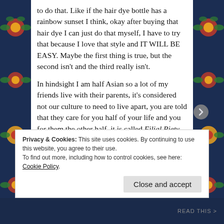to do that. Like if the hair dye bottle has a rainbow sunset I think, okay after buying that hair dye I can just do that myself, I have to try that because I love that style and IT WILL BE EASY. Maybe the first thing is true, but the second isn't and the third really isn't.
In hindsight I am half Asian so a lot of my friends live with their parents, it's considered not our culture to need to live apart, you are told that they care for you half of your life and you for them the other half, it is called Filial Piety. But there are four levels of filial piety, the first is sending money or financial support, the second is taking care of them, the third is caring about them (not a given in my culture that you
Privacy & Cookies: This site uses cookies. By continuing to use this website, you agree to their use.
To find out more, including how to control cookies, see here: Cookie Policy